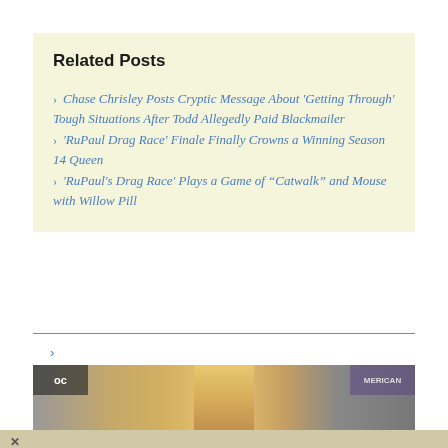Related Posts
Chase Chrisley Posts Cryptic Message About 'Getting Through' Tough Situations After Todd Allegedly Paid Blackmailer
'RuPaul Drag Race' Finale Finally Crowns a Winning Season 14 Queen
'RuPaul's Drag Race' Plays a Game of “Catwalk” and Mouse with Willow Pill
[Figure (photo): Partial photo of a woman with blonde hair, with logos visible on left and right sides of the image strip]